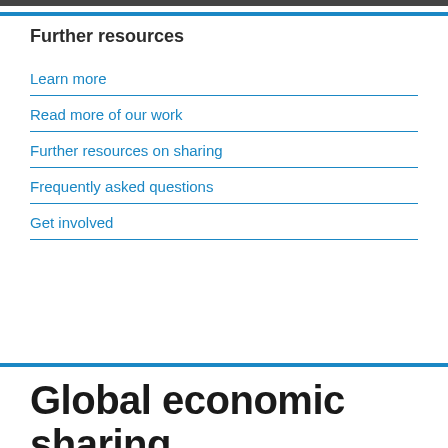Further resources
Learn more
Read more of our work
Further resources on sharing
Frequently asked questions
Get involved
Global economic sharing